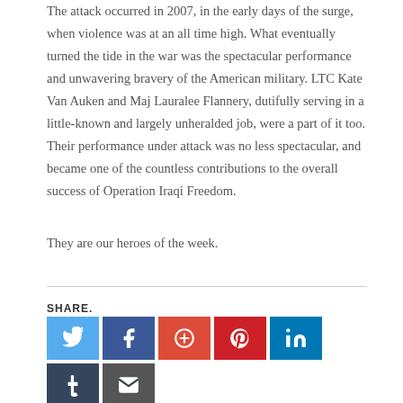The attack occurred in 2007, in the early days of the surge, when violence was at an all time high. What eventually turned the tide in the war was the spectacular performance and unwavering bravery of the American military. LTC Kate Van Auken and Maj Lauralee Flannery, dutifully serving in a little-known and largely unheralded job, were a part of it too. Their performance under attack was no less spectacular, and became one of the countless contributions to the overall success of Operation Iraqi Freedom.
They are our heroes of the week.
SHARE.